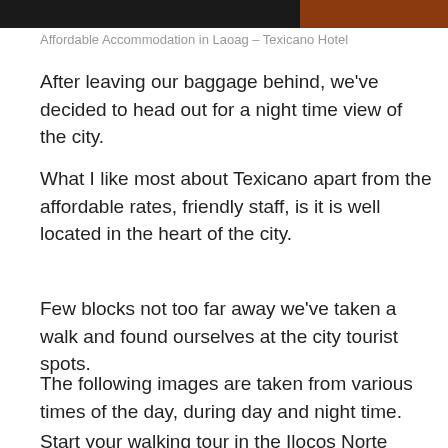[Figure (photo): Top portion of two hotel room photos cropped at the top of the page — left portion shows a dark interior, right portion shows a warm orange/brown tone]
Affordable Accommodation in Laoag – Texicano Hotel
After leaving our baggage behind, we've decided to head out for a night time view of the city.
What I like most about Texicano apart from the affordable rates, friendly staff, is it is well located in the heart of the city.
Few blocks not too far away we've taken a walk and found ourselves at the city tourist spots.
The following images are taken from various times of the day, during day and night time.
Start your walking tour in the Ilocos Norte Provincial Capitol. Near it you could also find the Museo de Ilocos.